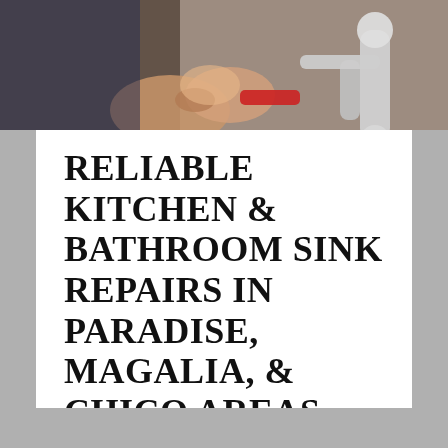[Figure (photo): A plumber working on a sink, hands visible gripping a wrench or pipe fitting, with chrome sink plumbing hardware visible in the background.]
RELIABLE KITCHEN & BATHROOM SINK REPAIRS IN PARADISE, MAGALIA, & CHICO AREAS
In many homes all over the country,